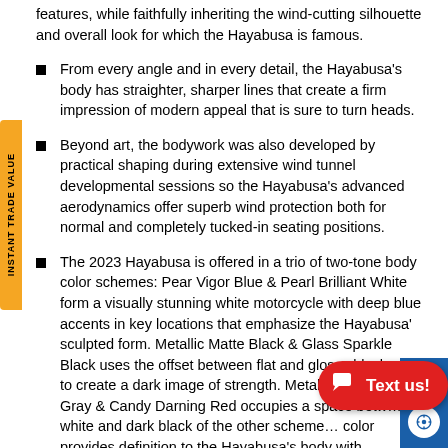features, while faithfully inheriting the wind-cutting silhouette and overall look for which the Hayabusa is famous.
From every angle and in every detail, the Hayabusa's body has straighter, sharper lines that create a firm impression of modern appeal that is sure to turn heads.
Beyond art, the bodywork was also developed by practical shaping during extensive wind tunnel developmental sessions so the Hayabusa's advanced aerodynamics offer superb wind protection both for normal and completely tucked-in seating positions.
The 2023 Hayabusa is offered in a trio of two-tone body color schemes: Pear Vigor Blue & Pearl Brilliant White form a visually stunning white motorcycle with deep blue accents in key locations that emphasize the Hayabusa' sculpted form. Metallic Matte Black & Glass Sparkle Black uses the offset between flat and glossy black paint to create a dark image of strength. Metallic Thunder Gray & Candy Darning Red occupies a space between the bright white and dark black of the other schemes... color provides definition to the Hayabusa's body with...